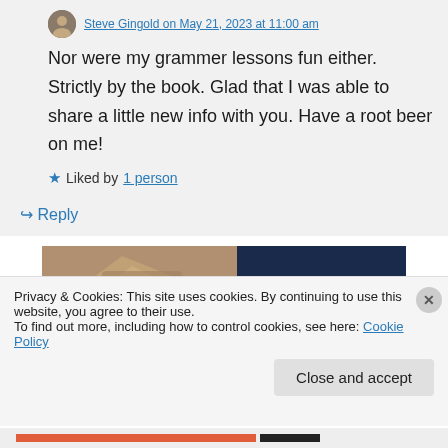Nor were my grammer lessons fun either. Strictly by the book. Glad that I was able to share a little new info with you. Have a root beer on me!
Liked by 1 person
↪ Reply
[Figure (photo): Advertisement banner showing a hand holding a pen on the left and dark navy background with the word BUSINESS. on the right]
Privacy & Cookies: This site uses cookies. By continuing to use this website, you agree to their use.
To find out more, including how to control cookies, see here: Cookie Policy
Close and accept